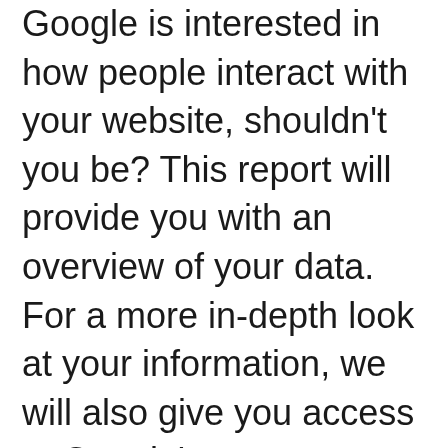Google is interested in how people interact with your website, shouldn't you be? This report will provide you with an overview of your data. For a more in-depth look at your information, we will also give you access to Google's own interface to view your data.